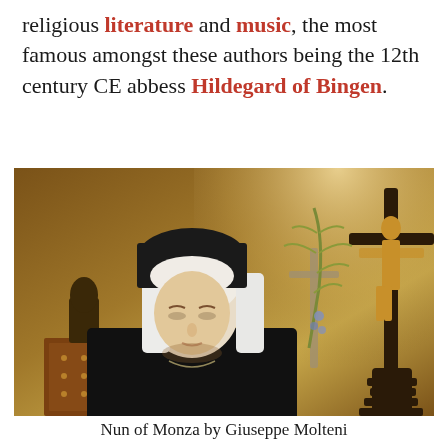religious literature and music, the most famous amongst these authors being the 12th century CE abbess Hildegard of Bingen.
[Figure (photo): Painting of a nun in white and black habit, head bowed in contemplation, with a crucifix and palm branch in a dimly lit chapel setting. Warm golden light illuminates the scene.]
Nun of Monza by Giuseppe Molteni